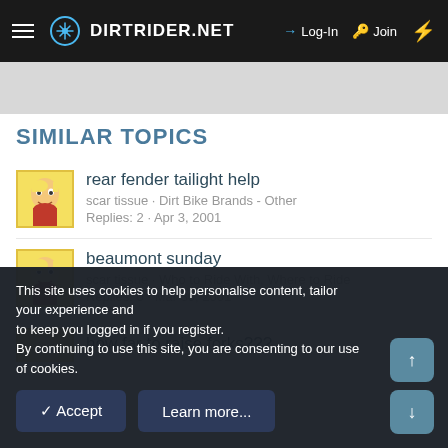DIRTRIDER.NET  →Log-In  🔑Join  ⚡
SIMILAR TOPICS
rear fender tailight help
scar tissue · Dirt Bike Brands - Other
Replies: 2 · Apr 3, 2001
beaumont sunday
scar tissue · Who to Ride With, Where to Ride
Replies: 0 · Mar 30, 2001
how far to raise forks???
This site uses cookies to help personalise content, tailor your experience and to keep you logged in if you register.
By continuing to use this site, you are consenting to our use of cookies.